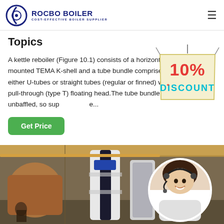ROCBO BOILER — COST-EFFECTIVE BOILER SUPPLIER
Topics
A kettle reboiler (Figure 10.1) consists of a horizontally mounted TEMA K-shell and a tube bundle comprised of either U-tubes or straight tubes (regular or finned) with a pull-through (type T) floating head.The tube bundle is unbaffled, so sup...e...
[Figure (illustration): 10% DISCOUNT badge/sign hanging graphic]
[Figure (photo): Industrial boiler in warehouse setting, with customer service representative in circular inset]
Get Price